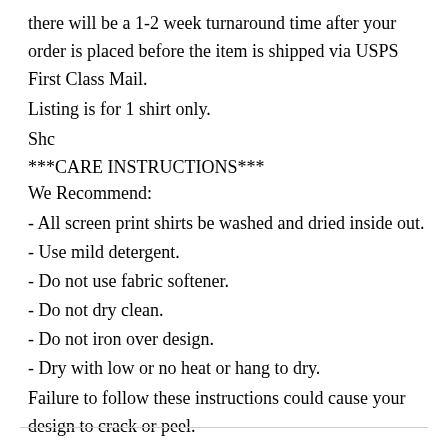there will be a 1-2 week turnaround time after your order is placed before the item is shipped via USPS First Class Mail.
Listing is for 1 shirt only.
Shc
***CARE INSTRUCTIONS***
We Recommend:
- All screen print shirts be washed and dried inside out.
- Use mild detergent.
- Do not use fabric softener.
- Do not dry clean.
- Do not iron over design.
- Dry with low or no heat or hang to dry.
Failure to follow these instructions could cause your design to crack or peel.